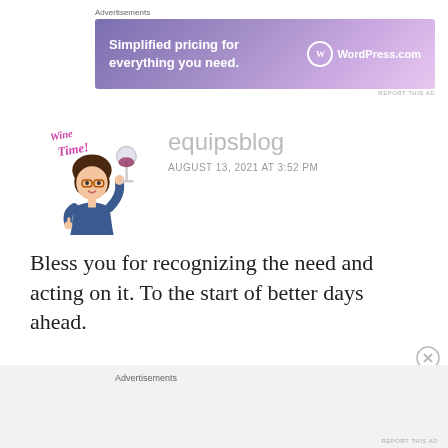[Figure (other): WordPress.com advertisement banner with gradient purple background, text 'Simplified pricing for everything you need.' and WordPress logo]
equipsblog
AUGUST 13, 2021 AT 3:52 PM
[Figure (illustration): Bitmoji avatar of a woman with dark hair holding a large wine glass, with 'Wine Time!' text]
Bless you for recognizing the need and acting on it. To the start of better days ahead.
★ Liked by 1 person
Advertisements